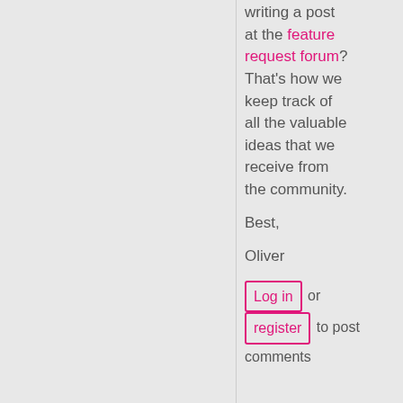writing a post at the feature request forum? That's how we keep track of all the valuable ideas that we receive from the community.
Best,
Oliver
Log in or register to post comments